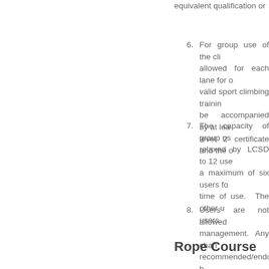equivalent qualification or...
6. For group use of the cli... allowed for each lane for o... valid sport climbing trainin... be accompanied by at lea... level 2 certificate and the o...
7. The capacity of group us... relaxed by LCSD to 12 use... a maximum of six users fo... time of use. The other u... users.
8. Users are not allowed ... management. Any chan... recommended/endorsed b... state at the close of the bo...
9. The hirers/users without p... required to bring along wit...
Rope Course
1. Course certificate sh...